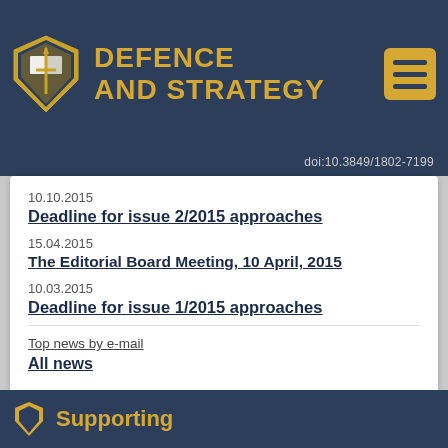DEFENCE AND STRATEGY
doi:10.3849/1802-7199
10.10.2015
Deadline for issue 2/2015 approaches
15.04.2015
The Editorial Board Meeting, 10 April, 2015
10.03.2015
Deadline for issue 1/2015 approaches
Top news by e-mail
All news
Supporting